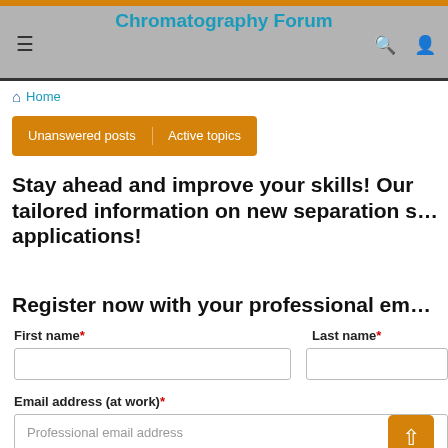Chromatography Forum
Home
Unanswered posts   Active topics
Stay ahead and improve your skills! Our tailored information on new separation s… applications!
Register now with your professional em…
First name*
Last name*
Email address (at work)*
Professional email address
Industry*
Please Select